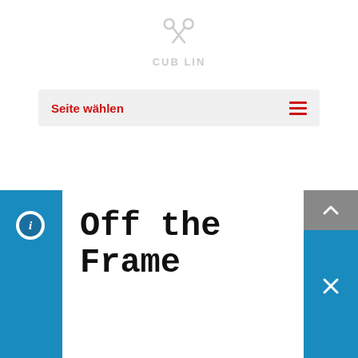[Figure (logo): CUB LIN logo with X/scissors icon in light gray]
Seite wählen
Off the Frame